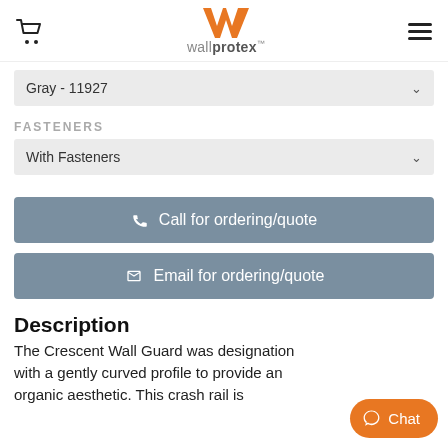wallprotex
Gray - 11927
FASTENERS
With Fasteners
Call for ordering/quote
Email for ordering/quote
Description
The Crescent Wall Guard was desi… with a gently curved profile to pro… organic aesthetic. This crash rail is…